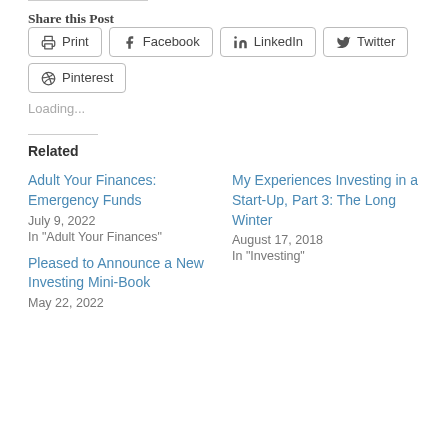Share this Post
Print   Facebook   LinkedIn   Twitter   Pinterest
Loading...
Related
Adult Your Finances: Emergency Funds
July 9, 2022
In "Adult Your Finances"
My Experiences Investing in a Start-Up, Part 3: The Long Winter
August 17, 2018
In "Investing"
Pleased to Announce a New Investing Mini-Book
May 22, 2022